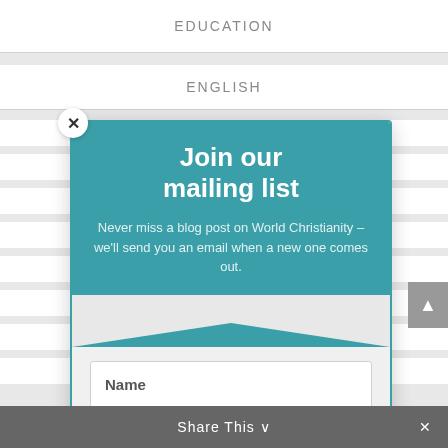EDUCATION
ENGLISH
[Figure (screenshot): Mailing list subscription modal popup with teal header, Name and Email input fields, and Subscribe button]
Join our mailing list
Never miss a blog post on World Christianity – we'll send you an email when a new one comes out.
Share This ∨